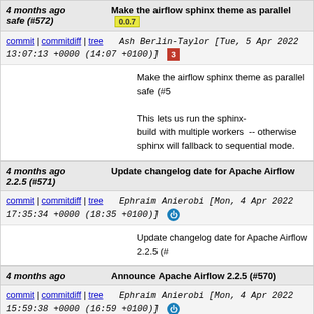4 months ago  Make the airflow sphinx theme as parallel safe (#572)  0.0.7
commit | commitdiff | tree  Ash Berlin-Taylor [Tue, 5 Apr 2022 13:07:13 +0000 (14:07 +0100)]
Make the airflow sphinx theme as parallel safe (#5

This lets us run the sphinx-build with multiple workers -- otherwise sphinx will fallback to sequential mode.
4 months ago  Update changelog date for Apache Airflow 2.2.5 (#571)
commit | commitdiff | tree  Ephraim Anierobi [Mon, 4 Apr 2022 17:35:34 +0000 (18:35 +0100)]
Update changelog date for Apache Airflow 2.2.5 (#
4 months ago  Announce Apache Airflow 2.2.5 (#570)
commit | commitdiff | tree  Ephraim Anierobi [Mon, 4 Apr 2022 15:59:38 +0000 (16:59 +0100)]
Announce Apache Airflow 2.2.5 (#570)
4 months ago  ...